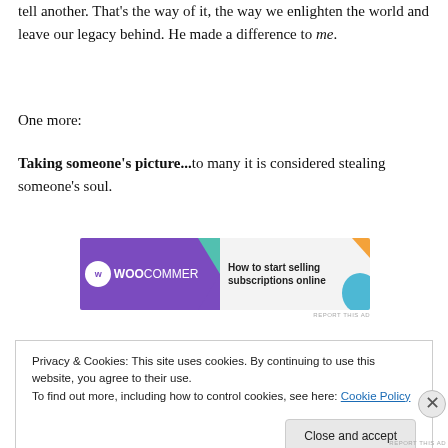tell another. That's the way of it, the way we enlighten the world and leave our legacy behind. He made a difference to me.
One more:
Taking someone's picture...to many it is considered stealing someone's soul.
[Figure (other): WooCommerce advertisement banner: 'How to start selling subscriptions online']
Privacy & Cookies: This site uses cookies. By continuing to use this website, you agree to their use.
To find out more, including how to control cookies, see here: Cookie Policy